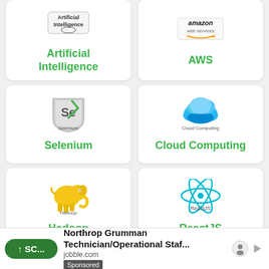[Figure (illustration): Artificial Intelligence logo card with AI icon and green text label]
[Figure (illustration): AWS Amazon Web Services logo card with Amazon logo and green text label]
[Figure (illustration): Selenium logo card with Se shield icon and green text label]
[Figure (illustration): Cloud Computing logo card with blue cloud icon and green text label]
[Figure (illustration): Hadoop logo card with yellow elephant icon and green text label]
[Figure (illustration): ReactJS logo card with cyan atom icon and green text label]
[Figure (illustration): Partially visible card with scatter/network icon at bottom left]
[Figure (illustration): Partially visible card with Angular red A logo at bottom right]
Northrop Grumman Technician/Operational Staf... jobble.com Sponsored